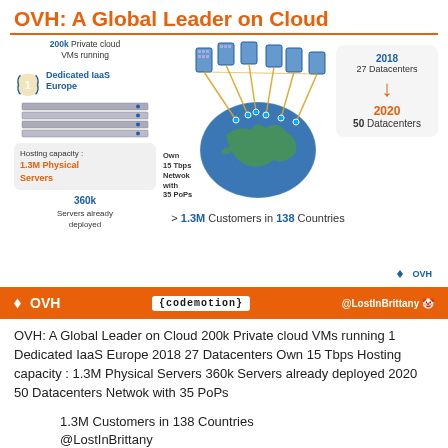OVH: A Global Leader on Cloud
[Figure (infographic): OVH infographic showing: 200k Private cloud VMs running, #1 Dedicated IaaS Europe, server rack visual, Hosting capacity: 1.3M Physical Servers, 360k Servers already deployed, globe with network connections and server buildings, Own 15 Tbps Network with 35 PoPs, 2018 27 Datacenters arrow to 2020 50 Datacenters, >1.3M Customers in 138 Countries]
OVH   {codemotion}   @LostInBrittany
OVH: A Global Leader on Cloud 200k Private cloud VMs running 1 Dedicated IaaS Europe 2018 27 Datacenters Own 15 Tbps Hosting capacity : 1.3M Physical Servers 360k Servers already deployed 2020 50 Datacenters Netwok with 35 PoPs
1.3M Customers in 138 Countries
@LostInBrittany